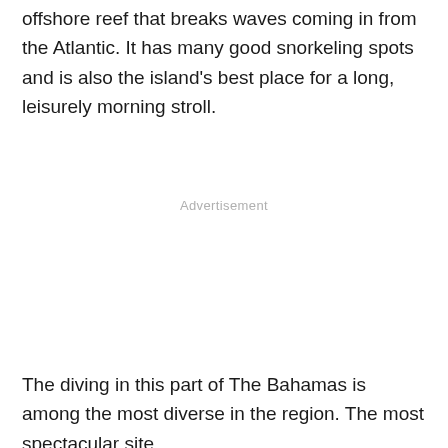offshore reef that breaks waves coming in from the Atlantic. It has many good snorkeling spots and is also the island's best place for a long, leisurely morning stroll.
Advertisement
The diving in this part of The Bahamas is among the most diverse in the region. The most spectacular site,